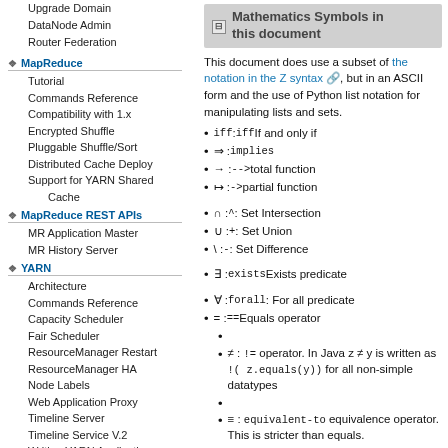Upgrade Domain
DataNode Admin
Router Federation
MapReduce
Tutorial
Commands Reference
Compatibility with 1.x
Encrypted Shuffle
Pluggable Shuffle/Sort
Distributed Cache Deploy
Support for YARN Shared Cache
MapReduce REST APIs
MR Application Master
MR History Server
YARN
Architecture
Commands Reference
Capacity Scheduler
Fair Scheduler
ResourceManager Restart
ResourceManager HA
Node Labels
Web Application Proxy
Timeline Server
Timeline Service V.2
Writing YARN Applications
YARN Application Security
NodeManager
DockerContainerExecutor
Mathematics Symbols in this document
This document does use a subset of the notation in the Z syntax, but in an ASCII form and the use of Python list notation for manipulating lists and sets.
iff : iff If and only if
⇒ : implies
→ : --> total function
↦ : -> partial function
∩ : ^: Set Intersection
∪ : +: Set Union
\ : -: Set Difference
∃ : exists Exists predicate
∀ : forall: For all predicate
= : == Equals operator
≠ : != operator. In Java z ≠ y is written as !( z.equals(y)) for all non-simple datatypes
≡ : equivalent-to equivalence operator. This is stricter than equals.
∅ : {} Empty Set. ∅ ≡ {}
≃ : approximately-equal-to operator